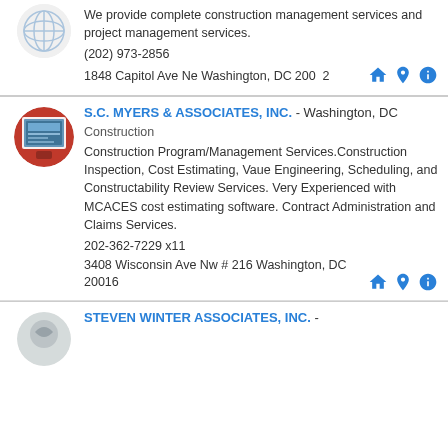We provide complete construction management services and project management services.
(202) 973-2856
1848 Capitol Ave Ne Washington, DC 2000[cut]
S.C. MYERS & ASSOCIATES, INC. - Washington, DC
Construction
Construction Program/Management Services.Construction Inspection, Cost Estimating, Vaue Engineering, Scheduling, and Constructability Review Services. Very Experienced with MCACES cost estimating software. Contract Administration and Claims Services.
202-362-7229 x11
3408 Wisconsin Ave Nw # 216 Washington, DC 20016
STEVEN WINTER ASSOCIATES, INC. -